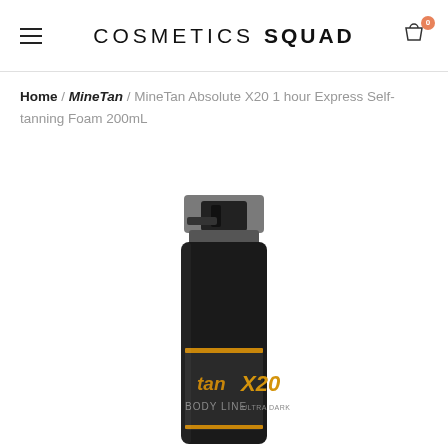COSMETICS SQUAD
Home / MineTan / MineTan Absolute X20 1 hour Express Self-tanning Foam 200mL
[Figure (photo): MineTan Absolute X20 1 hour Express Self-tanning Foam 200mL product bottle with black pump dispenser and dark packaging showing 'mtan' and 'X20' branding in gold/orange text]